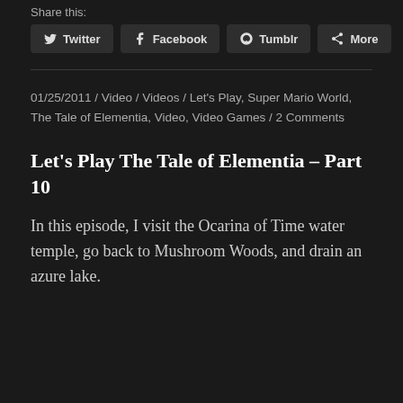Share this:
Twitter  Facebook  Tumblr  More
01/25/2011 / Video / Videos / Let's Play, Super Mario World, The Tale of Elementia, Video, Video Games / 2 Comments
Let's Play The Tale of Elementia – Part 10
In this episode, I visit the Ocarina of Time water temple, go back to Mushroom Woods, and drain an azure lake.